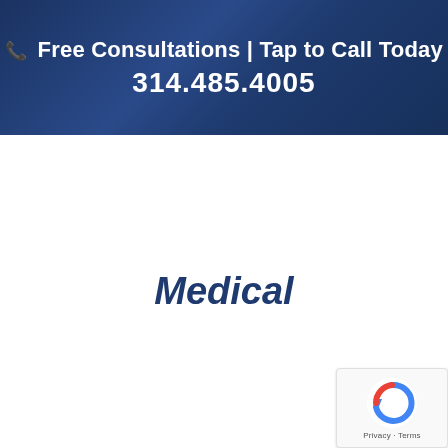📞 Free Consultations | Tap to Call Today
314.485.4005
Medical
[Figure (logo): Google reCAPTCHA badge with circular arrow logo and Privacy · Terms text]